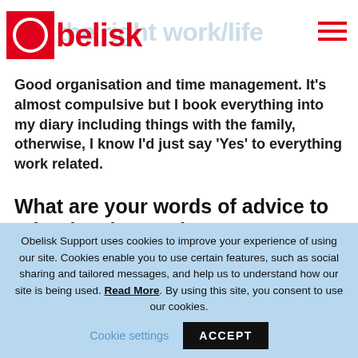Obelisk — find the right work/life balance
Good organisation and time management. It's almost compulsive but I book everything into my diary including things with the family, otherwise, I know I'd just say 'Yes' to everything work related.
What are your words of advice to other legal consultants?
Back yourself when it comes to the quality of your advice to the business and try to have fun. It's no
Obelisk Support uses cookies to improve your experience of using our site. Cookies enable you to use certain features, such as social sharing and tailored messages, and help us to understand how our site is being used. Read More. By using this site, you consent to use our cookies.